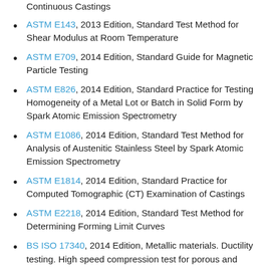Continuous Castings (partial, top of page)
ASTM E143, 2013 Edition, Standard Test Method for Shear Modulus at Room Temperature
ASTM E709, 2014 Edition, Standard Guide for Magnetic Particle Testing
ASTM E826, 2014 Edition, Standard Practice for Testing Homogeneity of a Metal Lot or Batch in Solid Form by Spark Atomic Emission Spectrometry
ASTM E1086, 2014 Edition, Standard Test Method for Analysis of Austenitic Stainless Steel by Spark Atomic Emission Spectrometry
ASTM E1814, 2014 Edition, Standard Practice for Computed Tomographic (CT) Examination of Castings
ASTM E2218, 2014 Edition, Standard Test Method for Determining Forming Limit Curves
BS ISO 17340, 2014 Edition, Metallic materials. Ductility testing. High speed compression test for porous and cellular metals (partial, bottom of page)